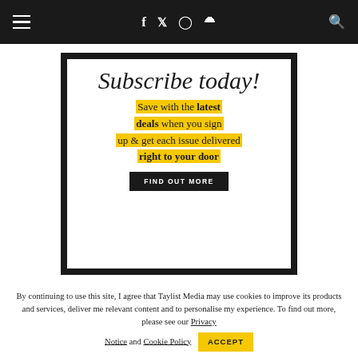Navigation bar with hamburger menu, social icons (f, Twitter, Instagram, Pinterest), and search
[Figure (infographic): Subscribe today! promotional banner with yellow highlighted text reading: Save with the latest deals when you sign up & get each issue delivered right to your door. Black button: FIND OUT MORE]
By continuing to use this site, I agree that Taylist Media may use cookies to improve its products and services, deliver me relevant content and to personalise my experience. To find out more, please see our Privacy Notice and Cookie Policy
ACCEPT